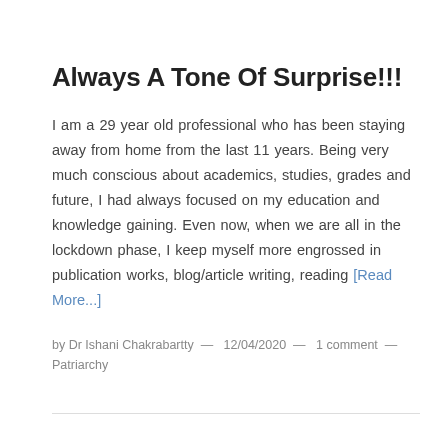Always A Tone Of Surprise!!!
I am a 29 year old professional who has been staying away from home from the last 11 years. Being very much conscious about academics, studies, grades and future, I had always focused on my education and knowledge gaining. Even now, when we are all in the lockdown phase, I keep myself more engrossed in publication works, blog/article writing, reading [Read More...]
by Dr Ishani Chakrabartty — 12/04/2020 — 1 comment — Patriarchy